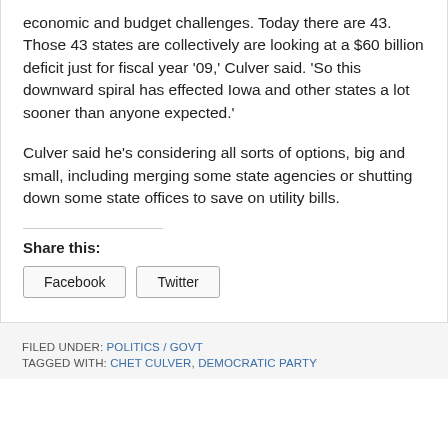economic and budget challenges. Today there are 43. Those 43 states are collectively are looking at a $60 billion deficit just for fiscal year '09,' Culver said. 'So this downward spiral has effected Iowa and other states a lot sooner than anyone expected.'
Culver said he's considering all sorts of options, big and small, including merging some state agencies or shutting down some state offices to save on utility bills.
Share this:
Facebook  Twitter
FILED UNDER: POLITICS / GOVT
TAGGED WITH: CHET CULVER, DEMOCRATIC PARTY